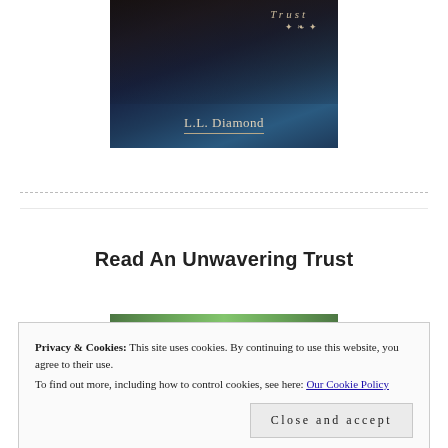[Figure (illustration): Book cover for 'An Unwavering Trust' by L.L. Diamond. Dark background with figures, script title text at top, decorative ornament, and author name with underline.]
Read An Unwavering Trust
[Figure (photo): Green foliage strip at top of a nature/garden photo.]
Privacy & Cookies: This site uses cookies. By continuing to use this website, you agree to their use.
To find out more, including how to control cookies, see here: Our Cookie Policy
Close and accept